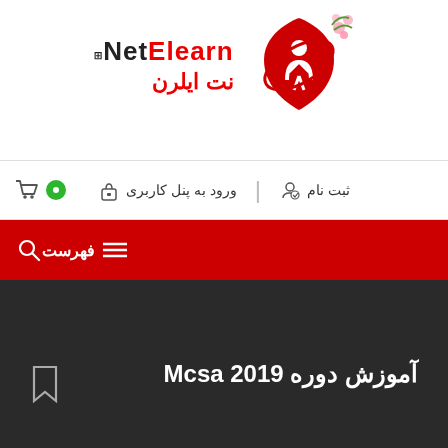[Figure (logo): NetElearn logo with Persian text نت ایلرن and red shield icon with person figure, plus pink flowers decoration]
ثبت نام  |  ورود به پنل کاربری
فهرست
شبکه و امنیت › آموزش دوره Mcsa 2019
آموزش دوره Mcsa 2019